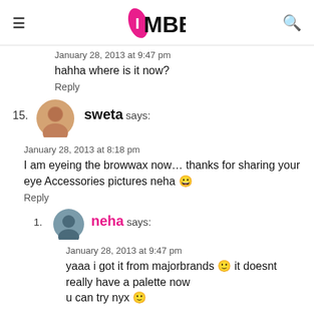IMBB
January 28, 2013 at 9:47 pm
hahha where is it now?
Reply
15. sweta says:
January 28, 2013 at 8:18 pm
I am eyeing the browwax now… thanks for sharing your eye Accessories pictures neha 😀
Reply
1. neha says:
January 28, 2013 at 9:47 pm
yaaa i got it from majorbrands 🙂 it doesnt really have a palette now
u can try nyx 🙂